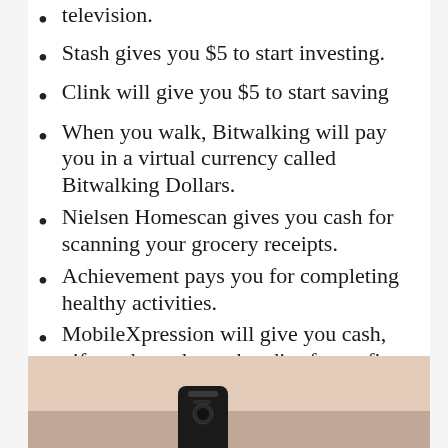television.
Stash gives you $5 to start investing.
Clink will give you $5 to start saving
When you walk, Bitwalking will pay you in a virtual currency called Bitwalking Dollars.
Nielsen Homescan gives you cash for scanning your grocery receipts.
Achievement pays you for completing healthy activities.
MobileXpression will give you cash, gift cards, and merchandise for surfing online.
The Ibotta app pays you for taking pics of your receipts.
Paribus scans your emails for receipts and will issue a refund if there's a price drop.
[Figure (photo): Photo showing a dark cylindrical object (possibly a pen or device) on a light beige/cream surface, cropped at the bottom of the page.]